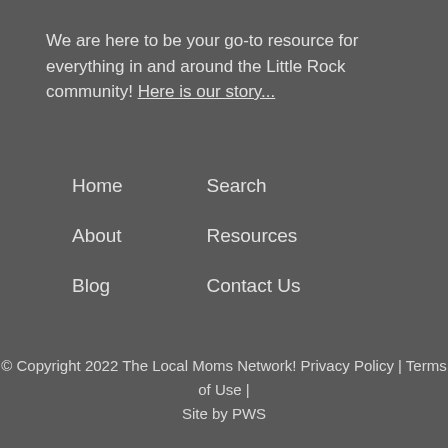We are here to be your go-to resource for everything in and around the Little Rock community! Here is our story...
Home
Search
About
Resources
Blog
Contact Us
© Copyright 2022 The Local Moms Network! Privacy Policy | Terms of Use | Site by PWS